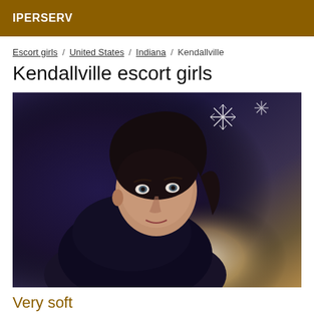IPERSERV
Escort girls / United States / Indiana / Kendallville
Kendallville escort girls
[Figure (photo): Portrait photo of a young woman with dark hair wearing a dark jacket, photographed indoors with warm background lighting and a decorative snowflake element visible in the background.]
Very soft